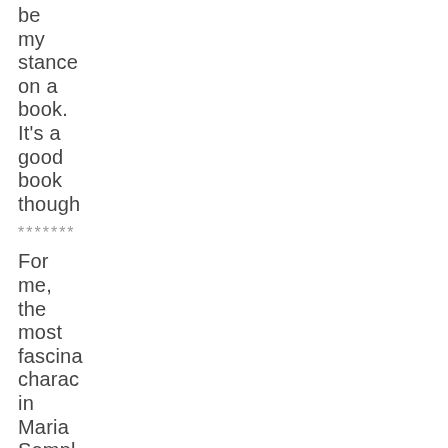be my stance on a book. It's a good book though
*******
For me, the most fascinating charac in Maria Sempl Where You Go, Berna